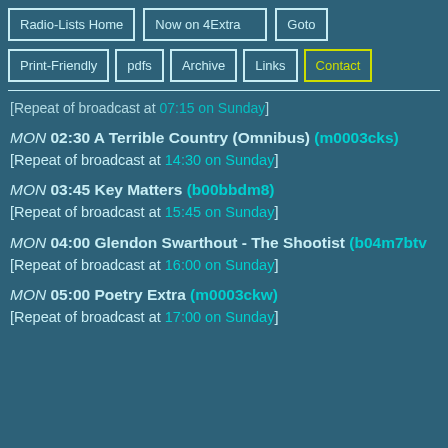Radio-Lists Home | Now on 4Extra | Goto | Print-Friendly | pdfs | Archive | Links | Contact
[Repeat of broadcast at 07:15 on Sunday]
MON 02:30 A Terrible Country (Omnibus) (m0003cks)
[Repeat of broadcast at 14:30 on Sunday]
MON 03:45 Key Matters (b00bbdm8)
[Repeat of broadcast at 15:45 on Sunday]
MON 04:00 Glendon Swarthout - The Shootist (b04m7btv)
[Repeat of broadcast at 16:00 on Sunday]
MON 05:00 Poetry Extra (m0003ckw)
[Repeat of broadcast at 17:00 on Sunday]